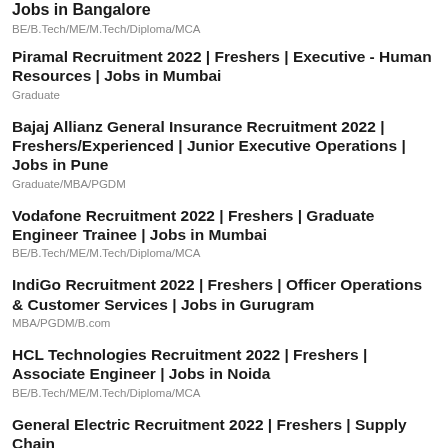Jobs in Bangalore
BE/B.Tech/ME/M.Tech/Diploma/MCA
Piramal Recruitment 2022 | Freshers | Executive - Human Resources | Jobs in Mumbai
Graduate
Bajaj Allianz General Insurance Recruitment 2022 | Freshers/Experienced | Junior Executive Operations | Jobs in Pune
Graduate/MBA/PGDM
Vodafone Recruitment 2022 | Freshers | Graduate Engineer Trainee | Jobs in Mumbai
BE/B.Tech/ME/M.Tech/Diploma/MCA
IndiGo Recruitment 2022 | Freshers | Officer Operations & Customer Services | Jobs in Gurugram
MBA/PGDM/B.com
HCL Technologies Recruitment 2022 | Freshers | Associate Engineer | Jobs in Noida
BE/B.Tech/ME/M.Tech/Diploma/MCA
General Electric Recruitment 2022 | Freshers | Supply Chain